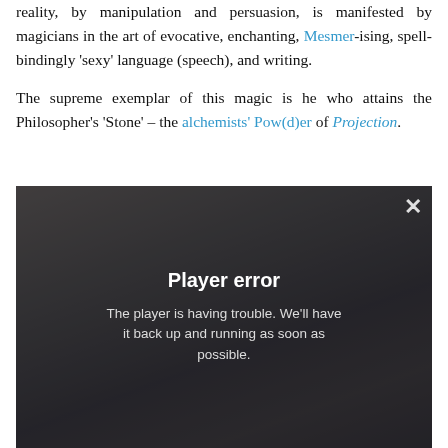reality, by manipulation and persuasion, is manifested by magicians in the art of evocative, enchanting, Mesmer-ising, spell-bindingly 'sexy' language (speech), and writing.

The supreme exemplar of this magic is he who attains the Philosopher's 'Stone' – the alchemists' Pow(d)er of Projection.
[Figure (screenshot): Video player showing a dark scene with a man seated indoors, overlaid with a 'Player error' message: 'The player is having trouble. We'll have it back up and running as soon as possible.' A close (X) button is visible in the top right corner.]